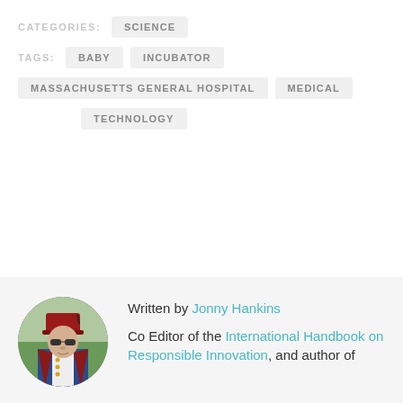CATEGORIES: SCIENCE
TAGS: BABY INCUBATOR
MASSACHUSETTS GENERAL HOSPITAL MEDICAL
TECHNOLOGY
[Figure (photo): Circular portrait photo of Jonny Hankins wearing a red fez hat, sunglasses, and a blue and red decorated jacket]
Written by Jonny Hankins

Co Editor of the International Handbook on Responsible Innovation, and author of